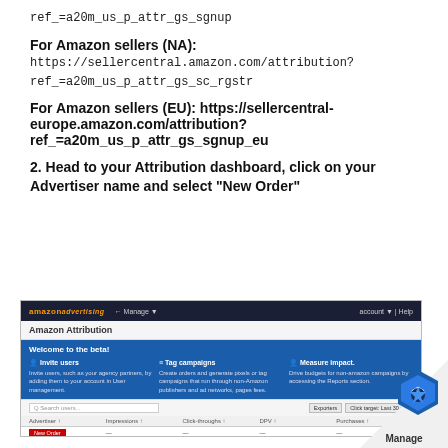ref_=a20m_us_p_attr_gs_sgnup
For Amazon sellers (NA):
https://sellercentral.amazon.com/attribution?
ref_=a20m_us_p_attr_gs_sc_rgstr
For Amazon sellers (EU): https://sellercentral-europe.amazon.com/attribution?
ref_=a20m_us_p_attr_gs_sgnup_eu
2. Head to your Attribution dashboard, click on your Advertiser name and select “New Order”
[Figure (screenshot): Screenshot of Amazon Attribution dashboard showing navigation bar, title 'Amazon Attribution', welcome to the beta banner with Invite users, Tag campaigns, and Measure impact sections, and a table with advertiser list and a red New Order button.]
[Figure (logo): Manage badge with blue hexagon icon and 'Manage' text in bottom-right corner]